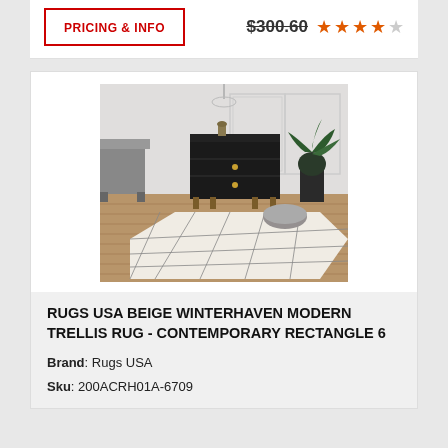PRICING & INFO
$300.60
[Figure (photo): Photo of a modern living room with a beige trellis patterned rug on hardwood floor, dark cabinet, grey chair, plant, and woven pouf]
RUGS USA BEIGE WINTERHAVEN MODERN TRELLIS RUG - CONTEMPORARY RECTANGLE 6
Brand: Rugs USA
Sku: 200ACRH01A-6709